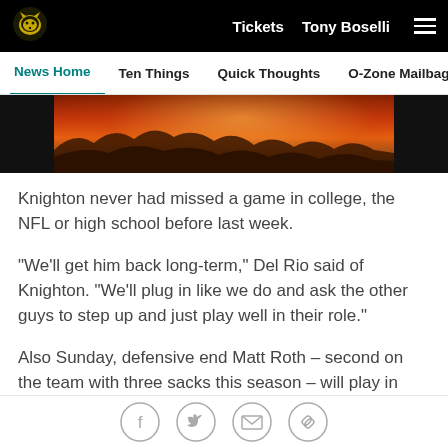Tickets  Tony Boselli  ☰
News Home  Ten Things  Quick Thoughts  O-Zone Mailbag  Ros
[Figure (photo): Partial hero image showing rocky landscape with warm orange/red sunset glow]
Knighton never had missed a game in college, the NFL or high school before last week.
"We'll get him back long-term," Del Rio said of Knighton. "We'll plug in like we do and ask the other guys to step up and just play well in their role."
Also Sunday, defensive end Matt Roth – second on the team with three sacks this season – will play in Cleveland for the first time since leaving the Browns and signing with the Jaguars as a free agent during
Social share icons: Facebook, Twitter, Email, Link